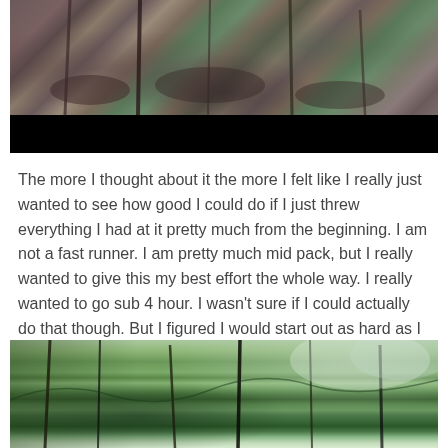[Figure (photo): Forest floor photo showing leaf-covered ground and tree trunks, with a black redaction bar at the bottom]
The more I thought about it the more I felt like I really just wanted to see how good I could do if I just threw everything I had at it pretty much from the beginning. I am not a fast runner. I am pretty much mid pack, but I really wanted to give this my best effort the whole way. I really wanted to go sub 4 hour. I wasn't sure if I could actually do that though. But I figured I would start out as hard as I thought I could and then if I blew up I blew up.
[Figure (photo): Forest trail photo showing trees with green foliage and bright sky visible through canopy]